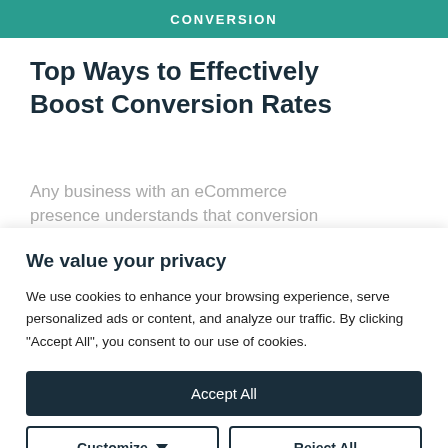CONVERSION
Top Ways to Effectively Boost Conversion Rates
Any business with an eCommerce presence understands that conversion
We value your privacy
We use cookies to enhance your browsing experience, serve personalized ads or content, and analyze our traffic. By clicking "Accept All", you consent to our use of cookies.
Accept All
Customize
Reject All